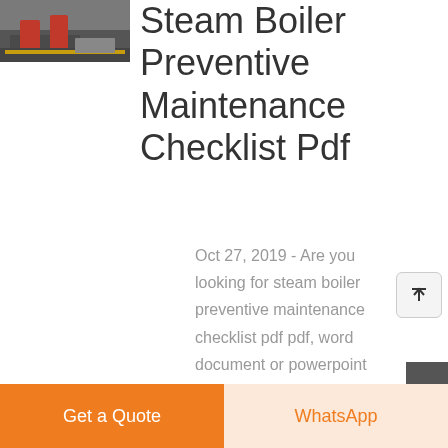[Figure (photo): Photo of a steam boiler in an industrial setting, with red and yellow equipment visible]
Steam Boiler Preventive Maintenance Checklist Pdf
Oct 27, 2019 - Are you looking for steam boiler preventive maintenance checklist pdf pdf, word document or powerpoint file formats for free? Then you already in the right place. Find any document from Microsoft Word, PDF and powerpoint file formats in an effortless way. steam
Get a Quote
WhatsApp